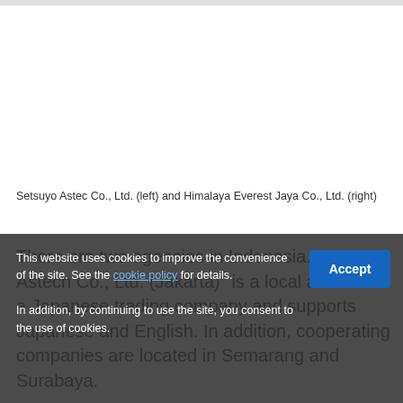[Figure (photo): White/blank image area representing photos of Setsuyo Astec Co., Ltd. (left) and Himalaya Everest Jaya Co., Ltd. (right)]
Setsuyo Astec Co., Ltd. (left) and Himalaya Everest Jaya Co., Ltd. (right)
There are two agencies in Indonesia. "Setsuyo Astech Co., Ltd. (Jakarta)" is a local affiliate of a Japanese trading company and supports Japanese and English. In addition, cooperating companies are located in Semarang and Surabaya.